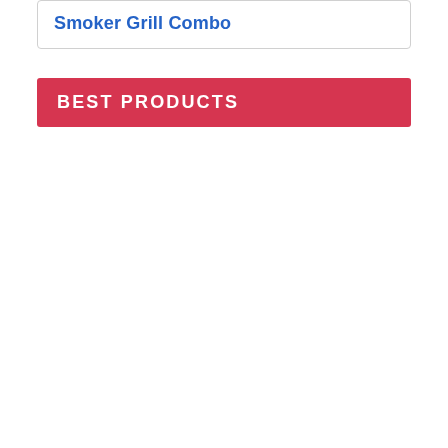Smoker Grill Combo
BEST PRODUCTS